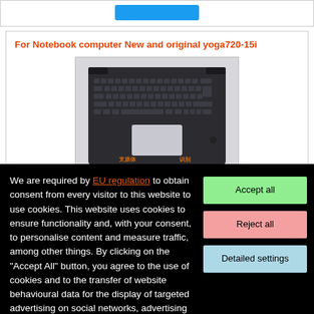[Figure (screenshot): Top navigation bar with a blue button]
For Notebook computer New and original yoga720-15i
[Figure (photo): Photo of a laptop keyboard/palmrest assembly for Lenovo Yoga 720-15i, dark gray color, with a white trackpad area visible]
We are required by EU regulation to obtain consent from every visitor to this website to use cookies. This website uses cookies to ensure functionality and, with your consent, to personalise content and measure traffic, among other things. By clicking on the "Accept All" button, you agree to the use of cookies and to the transfer of website behavioural data for the display of targeted advertising on social networks, advertising networks on other sites.